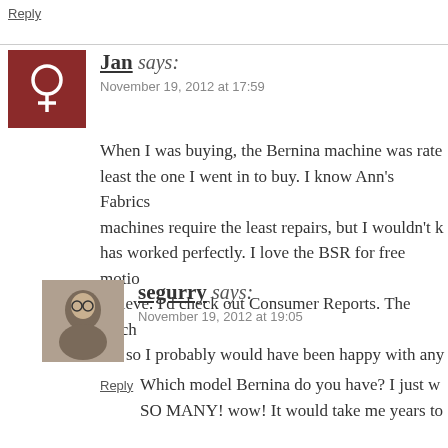Reply
Jan says:
November 19, 2012 at 17:59
When I was buying, the Bernina machine was rated at least the one I went in to buy. I know Ann's Fabrics machines require the least repairs, but I wouldn't k has worked perfectly. I love the BSR for free motio believe. I'd check out Consumer Reports. The mac old so I probably would have been happy with any
Reply
segurry says:
November 19, 2012 at 19:05
Which model Bernina do you have? I just w SO MANY! wow! It would take me years to